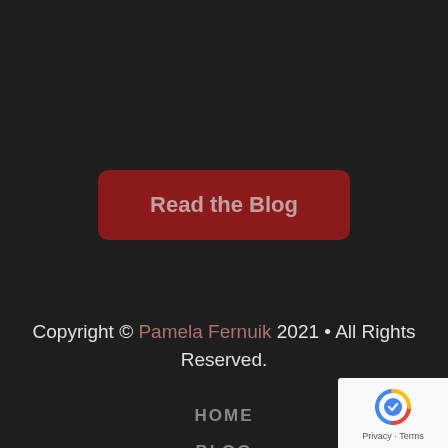Read the Blog
Copyright © Pamela Fernuik 2021 • All Rights Reserved.
HOME
BLOG
ABOUT
CONTACT
[Figure (logo): Google reCAPTCHA badge with Privacy and Terms links]